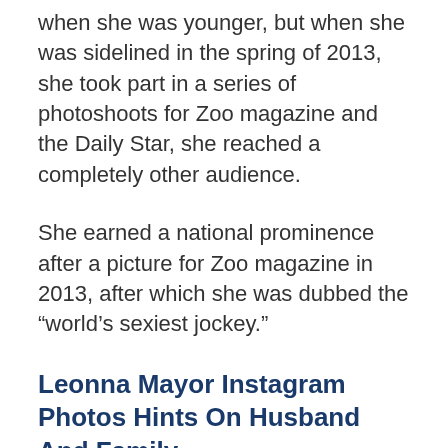when she was younger, but when she was sidelined in the spring of 2013, she took part in a series of photoshoots for Zoo magazine and the Daily Star, she reached a completely other audience.
She earned a national prominence after a picture for Zoo magazine in 2013, after which she was dubbed the “world’s sexiest jockey.”
Leonna Mayor Instagram Photos Hints On Husband And Family
Leonna Mayor is available on Instagram under the username of @leonnamayor